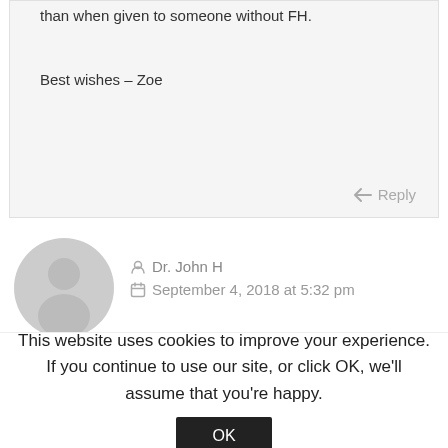than when given to someone without FH.
Best wishes – Zoe
Reply
Dr. John H
September 4, 2018 at 5:32 pm
Thank you Zoe!
If the very high LDL in a person with
This website uses cookies to improve your experience. If you continue to use our site, or click OK, we'll assume that you're happy.